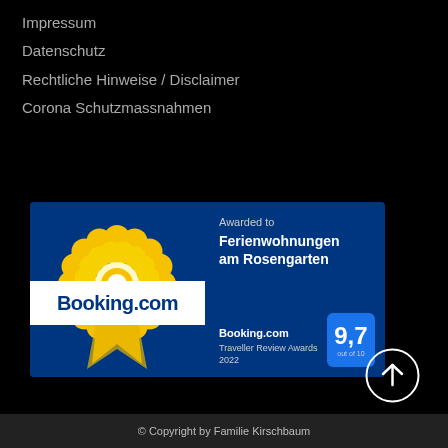Impressum
Datenschutz
Rechtliche Hinweise / Disclaimer
Corona Schutzmassnahmen
[Figure (infographic): Booking.com Traveller Review Awards 2022 badge awarded to Ferienwohnungen am Rosengarten with a score of 9.7 out of 10. Features a yellow rosette ribbon on the left, Booking.com logo on a white banner, and a blue score box showing 9,7 on the right.]
[Figure (illustration): White circle with upward arrow icon (scroll to top button)]
© Copyright by Familie Kirschbaum